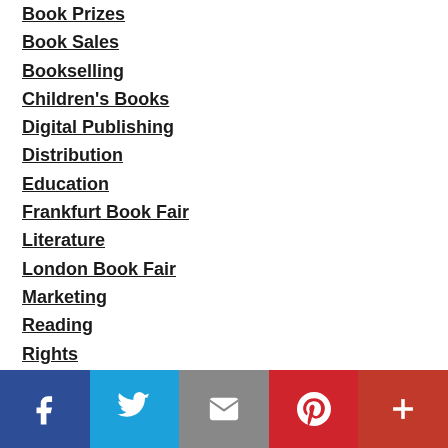Book Prizes
Book Sales
Bookselling
Children's Books
Digital Publishing
Distribution
Education
Frankfurt Book Fair
Literature
London Book Fair
Marketing
Reading
Rights
Statistics
Translation
Writing